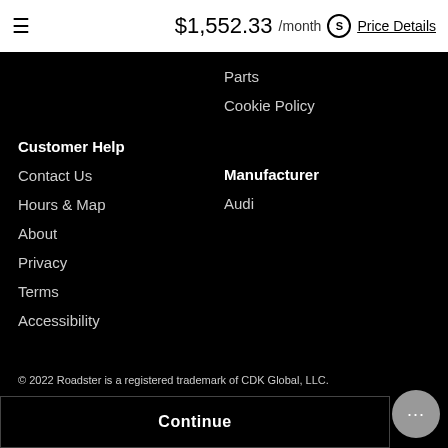≡  $1,552.33 /month ⓢ Price Details
Parts
Cookie Policy
Customer Help
Contact Us
Hours & Map
About
Privacy
Terms
Accessibility
Manufacturer
Audi
© 2022 Roadster is a registered trademark of CDK Global, LLC.
Continue